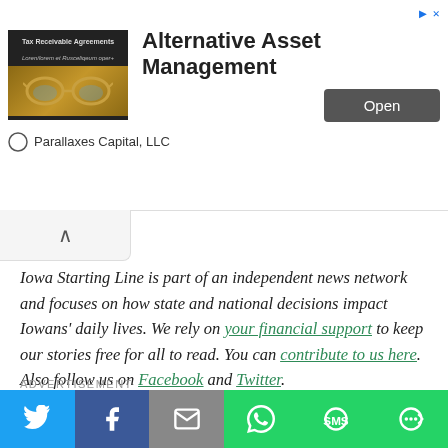[Figure (other): Advertisement banner for Alternative Asset Management by Parallaxes Capital, LLC with a book image of Tax Receivable Agreements, headline text, and an Open button]
Iowa Starting Line is part of an independent news network and focuses on how state and national decisions impact Iowans' daily lives. We rely on your financial support to keep our stories free for all to read. You can contribute to us here. Also follow us on Facebook and Twitter.
ADVERTISEMENT
[Figure (other): Social media share buttons bar: Twitter (blue), Facebook (dark blue), Email (grey), WhatsApp (green), SMS (green), More (green)]